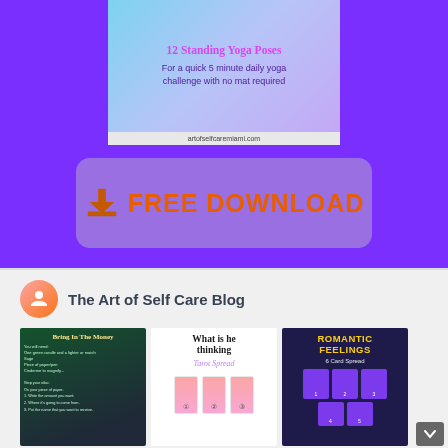[Figure (infographic): Yoga infographic card showing '12 Standing Yoga Poses' with subtitle 'For a quick 5 minute daily yoga challenge with no mat required' on a purple and teal background with URL artofselfcaremiami.com]
[Figure (infographic): Large orange FREE DOWNLOAD button with download arrow icon on a semi-transparent rounded rectangle, set against a purple background]
The Art of Self Care Blog
[Figure (screenshot): Three blog post thumbnail images side by side: 'Bring In The Money' spell on dark green background, 'What is he thinking Tarot Spread' on white background, and 'Romantic Feelings 6 Card Spread' on dark navy background with yellow title]